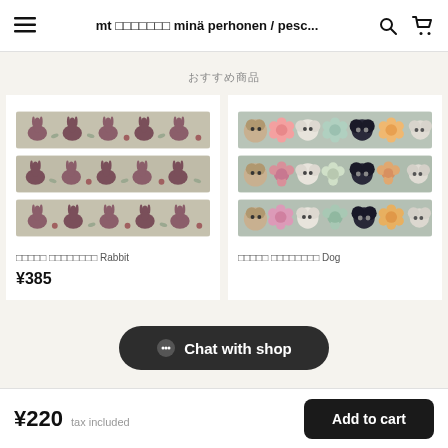mt ミナペルホネン minä perhonen / pesc...
おすすめ商品
[Figure (photo): Three strips of washi tape showing rabbit silhouette pattern on beige/grey background]
[Figure (photo): Three strips of washi tape showing watercolor dog portraits and flowers on light background]
ミナペルホネン マスキングテープ Rabbit
¥385
ミナペルホネン マスキングテープ Dog
Chat with shop
¥220  tax included
Add to cart